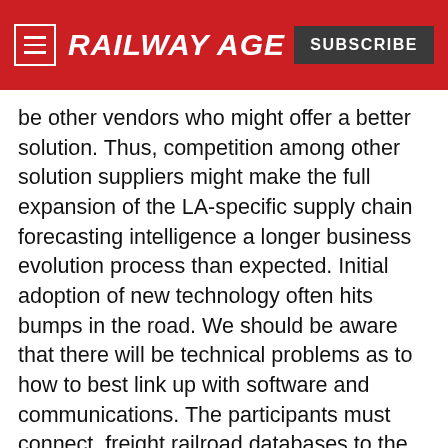RAILWAY AGE | SUBSCRIBE
be other vendors who might offer a better solution. Thus, competition among other solution suppliers might make the full expansion of the LA-specific supply chain forecasting intelligence a longer business evolution process than expected. Initial adoption of new technology often hits bumps in the road. We should be aware that there will be technical problems as to how to best link up with software and communications. The participants must connect  freight railroad databases to the TMS inventory systems of intermodal customers, ports and warehouses along geographic supply chain routes. Frankly, this is going to take some time. Apparently, the adoption process is not yet fully